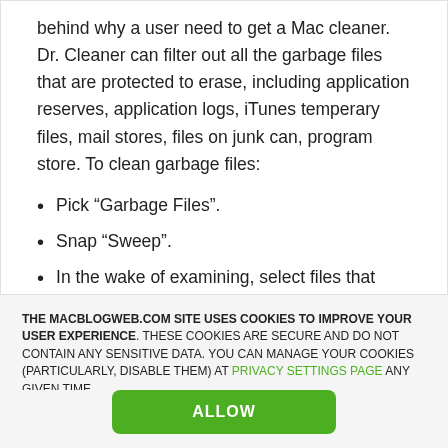behind why a user need to get a Mac cleaner. Dr. Cleaner can filter out all the garbage files that are protected to erase, including application reserves, application logs, iTunes temperary files, mail stores, files on junk can, program store. To clean garbage files:
Pick “Garbage Files”.
Snap “Sweep”.
In the wake of examining, select files that
THE MACBLOGWEB.COM SITE USES COOKIES TO IMPROVE YOUR USER EXPERIENCE. THESE COOKIES ARE SECURE AND DO NOT CONTAIN ANY SENSITIVE DATA. YOU CAN MANAGE YOUR COOKIES (PARTICULARLY, DISABLE THEM) AT PRIVACY SETTINGS PAGE ANY GIVEN TIME.
ALLOW